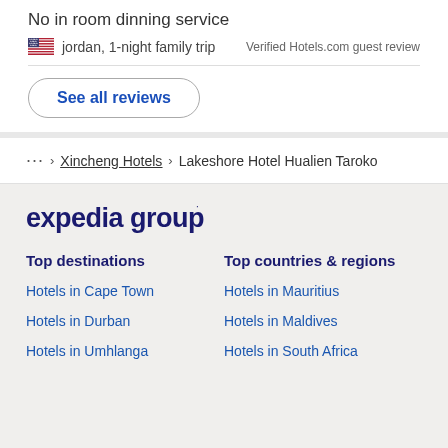No in room dinning service
jordan, 1-night family trip
Verified Hotels.com guest review
See all reviews
... > Xincheng Hotels > Lakeshore Hotel Hualien Taroko
[Figure (logo): Expedia Group logo in dark navy text]
Top destinations
Top countries & regions
Hotels in Cape Town
Hotels in Mauritius
Hotels in Durban
Hotels in Maldives
Hotels in Umhlanga
Hotels in South Africa